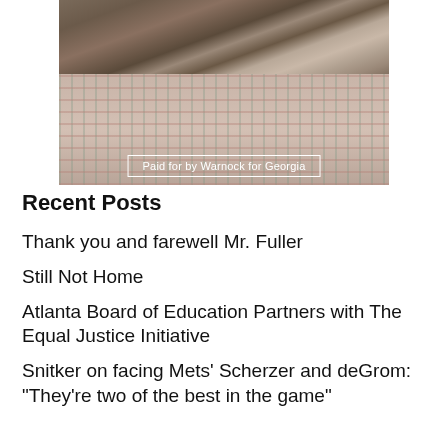[Figure (photo): A man wearing a plaid/checkered shirt, photo cropped to show neck and shirt area. Overlay text reads 'Paid for by Warnock for Georgia'.]
Recent Posts
Thank you and farewell Mr. Fuller
Still Not Home
Atlanta Board of Education Partners with The Equal Justice Initiative
Snitker on facing Mets' Scherzer and deGrom: “They’re two of the best in the game”